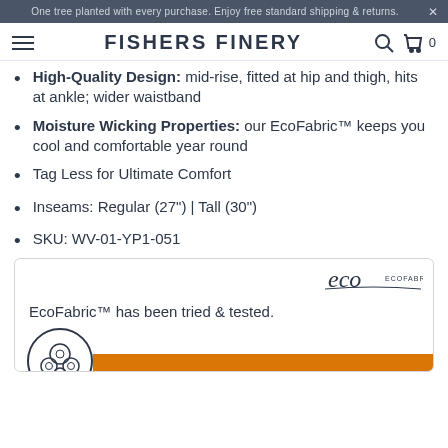One tree planted with every purchase. Enjoy free standard shipping & returns.
FISHERS FINERY
High-Quality Design: mid-rise, fitted at hip and thigh, hits at ankle; wider waistband
Moisture Wicking Properties: our EcoFabric™ keeps you cool and comfortable year round
Tag Less for Ultimate Comfort
Inseams: Regular (27") | Tall (30")
SKU: WV-01-YP1-051
[Figure (logo): eco ECOFABRIC™ logo in script lettering]
EcoFabric™ has been tried & tested.
[Figure (illustration): Circle illustration with plant/nature icon]
EMAIL ME WHEN AVAILABLE